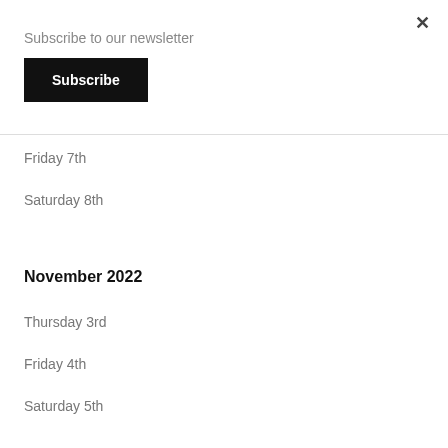×
Subscribe to our newsletter
Subscribe
Friday 7th
Saturday 8th
November 2022
Thursday 3rd
Friday 4th
Saturday 5th